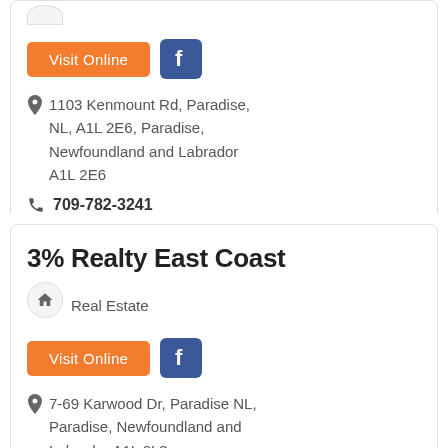[Figure (other): Partial circle icon at top of first card (cut off)]
[Figure (other): Orange 'Visit Online' button and Facebook icon button]
1103 Kenmount Rd, Paradise, NL, A1L 2E6, Paradise, Newfoundland and Labrador A1L 2E6
709-782-3241
3% Realty East Coast
Real Estate
[Figure (other): Orange 'Visit Online' button and Facebook icon button]
7-69 Karwood Dr, Paradise NL, Paradise, Newfoundland and Labrador A1L 0L3